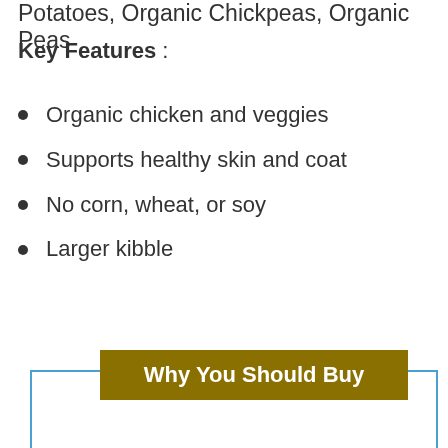Potatoes, Organic Chickpeas, Organic Peas
Key Features :
Organic chicken and veggies
Supports healthy skin and coat
No corn, wheat, or soy
Larger kibble
Why You Should Buy
[Figure (other): Blue bordered box below 'Why You Should Buy' header, empty content area]